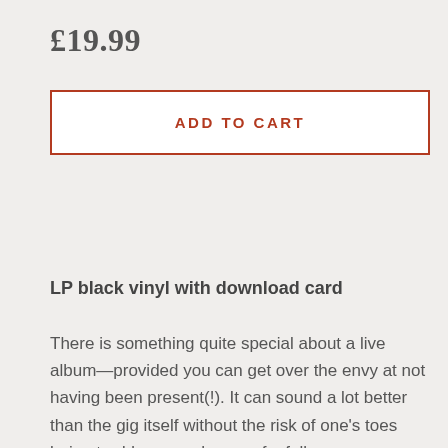£19.99
ADD TO CART
LP black vinyl with download card
There is something quite special about a live album—provided you can get over the envy at not having been present(!). It can sound a lot better than the gig itself without the risk of one's toes being trodden or a shower of a fellow